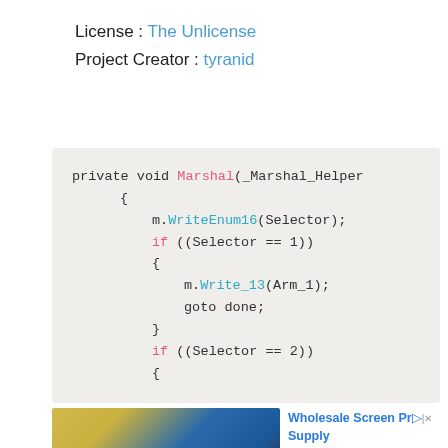License : The Unlicense
Project Creator : tyranid
[Figure (screenshot): Code block showing a C# method 'private void Marshal(_Marshal_Helper' with code: m.WriteEnum16(Selector); if ((Selector == 1)) { m.Write_13(Arm_1); goto done; } if ((Selector == 2)) {]
[Figure (photo): Advertisement showing a person in yellow clothing using a screen printing press with blue frame. Text reads: Wholesale Screen Pr... Supply]
Ad